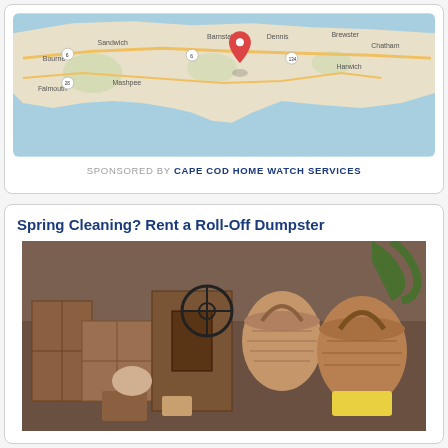[Figure (map): Google Maps image showing Cape Cod, Massachusetts area with a red location pin marker over Barnstable. Visible towns include Sandwich, Barnstable, Dennis, Brewster, Chatham, Harwich, Falmouth, Mashpee, and Bourne.]
SPONSORED BY CAPE COD HOME WATCH SERVICES
Spring Cleaning? Rent a Roll-Off Dumpster
[Figure (photo): Photo of a large pile of junk and household items including wooden furniture, baskets, wicker items, and miscellaneous clutter, representing items for disposal in a roll-off dumpster.]